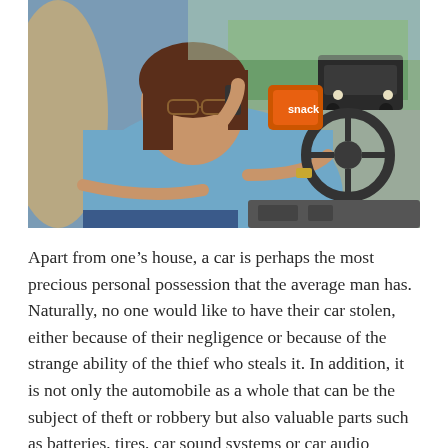[Figure (photo): A woman sitting in the driver's seat of a car, talking on a mobile phone while holding the steering wheel. Through the windshield, a road with palm trees and another vehicle (a dark SUV) is visible. The woman is wearing a blue top and glasses.]
Apart from one's house, a car is perhaps the most precious personal possession that the average man has. Naturally, no one would like to have their car stolen, either because of their negligence or because of the strange ability of the thief who steals it. In addition, it is not only the automobile as a whole that can be the subject of theft or robbery but also valuable parts such as batteries, tires, car sound systems or car audio systems that you have installed